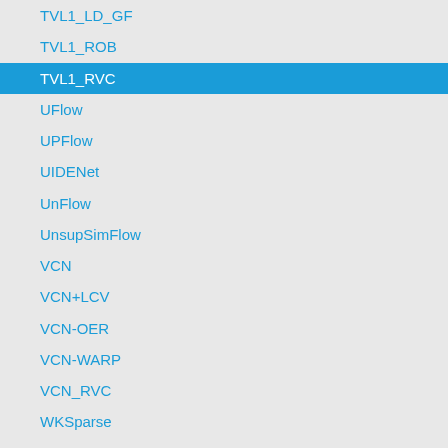TVL1_LD_GF
TVL1_ROB
TVL1_RVC
UFlow
UPFlow
UIDENet
UnFlow
UnsupSimFlow
VCN
VCN+LCV
VCN-OER
VCN-WARP
VCN_RVC
WKSparse
WLIF-Flow
WOLF_ROB
WRTflow
ZZZ
flownetnew